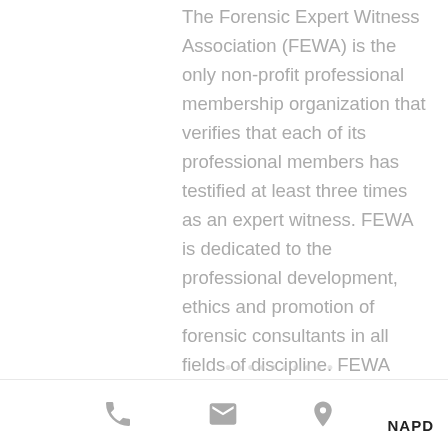The Forensic Expert Witness Association (FEWA) is the only non-profit professional membership organization that verifies that each of its professional members has testified at least three times as an expert witness. FEWA is dedicated to the professional development, ethics and promotion of forensic consultants in all fields of discipline. FEWA provides professional education for experts of all levels of experience and also for those aspiring to be experts who have not yet testified,
phone | email | location | NAPD